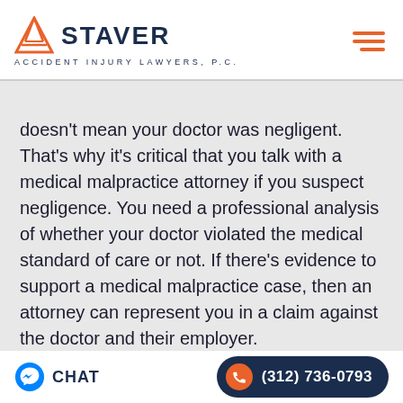[Figure (logo): Staver Accident Injury Lawyers P.C. logo with orange triangle icon and dark navy text, plus hamburger menu icon in orange on the right]
doesn't mean your doctor was negligent. That's why it's critical that you talk with a medical malpractice attorney if you suspect negligence. You need a professional analysis of whether your doctor violated the medical standard of care or not. If there's evidence to support a medical malpractice case, then an attorney can represent you in a claim against the doctor and their employer.
CHAT   (312) 736-0793